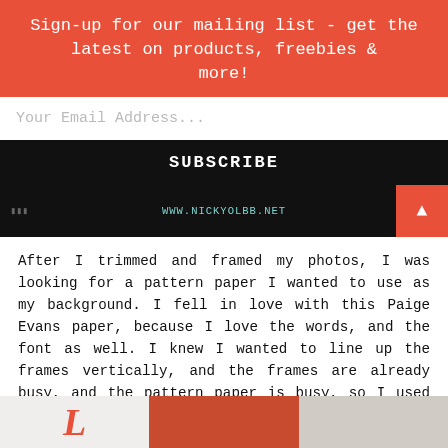Sign-up for our mailing list - get the latest on products, freebies & more!
Your Email Address...
SUBSCRIBE
[Figure (screenshot): Dark image strip with website URL text and red arrow button on the right]
After I trimmed and framed my photos, I was looking for a pattern paper I wanted to use as my background. I fell in love with this Paige Evans paper, because I love the words, and the font as well. I knew I wanted to line up the frames vertically, and the frames are already busy, and the pattern paper is busy, so I used some white gesso to soften the pattern down the middle. Since I used gesso on the paper anyway, I decided to add a little bit of mixed media. I just added a touch of soft pink and purple to the center of the background.
[Figure (photo): Three bottom image thumbnails partially visible]